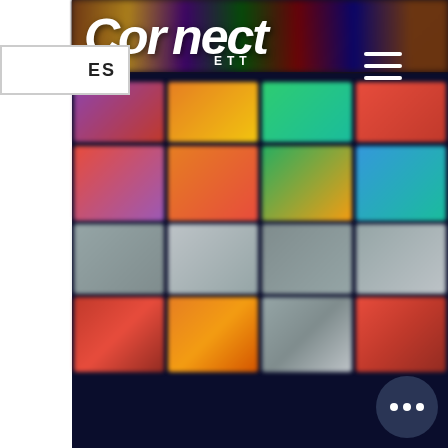[Figure (screenshot): Mobile app screenshot showing 'Cor_nect ETT' (Cornett Connect) application interface with dark navy blue background. The screen displays a grid of blurred game/media thumbnails. A language selector box showing 'ES' is in the top left, and a hamburger menu icon is in the top right. The main content area shows the Cornett Connect logo overlaid on a colorful grid of blurred thumbnails. A circular button with three dots (...) is in the bottom right corner.]